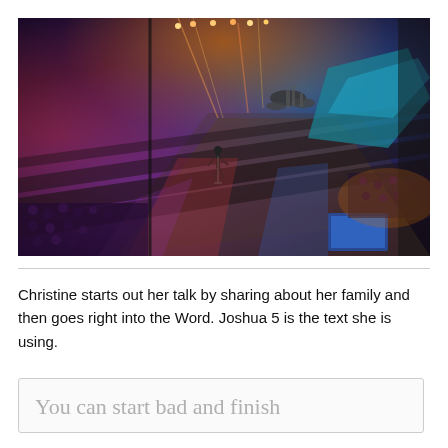[Figure (photo): Aerial view of a concert stage with colorful stage lighting — blue, purple, orange and red lights — a performer standing at a microphone at center stage, drum kit visible, audience seated in the lower left, dark arena setting.]
Christine starts out her talk by sharing about her family and then goes right into the Word. Joshua 5 is the text she is using.
You can start bad and finish